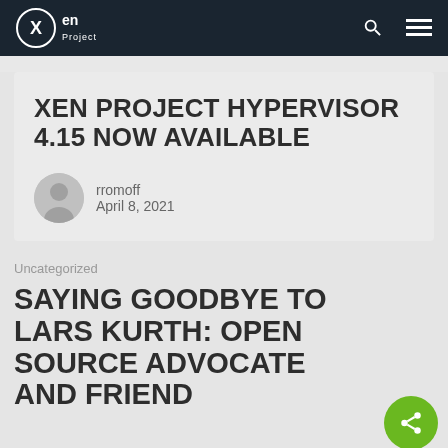Xen Project
XEN PROJECT HYPERVISOR 4.15 NOW AVAILABLE
rromoff
April 8, 2021
Uncategorized
SAYING GOODBYE TO LARS KURTH: OPEN SOURCE ADVOCATE AND FRIEND